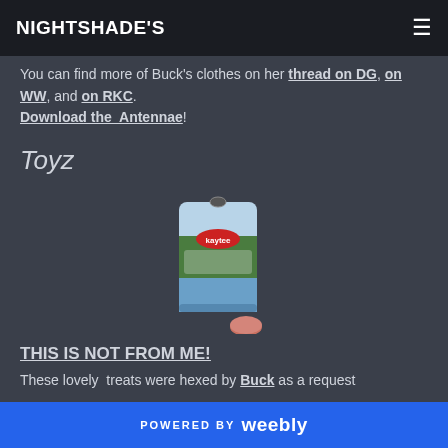NIGHTSHADE'S
You can find more of Buck's clothes on her thread on DG, on WW, and on RKC. Download the Antennae!
Toyz
[Figure (photo): Product photo of a Kaytee brand small animal treat bag with a loose treat in front]
THIS IS NOT FROM ME!
These lovely treats were hexed by Buck as a request
POWERED BY weebly